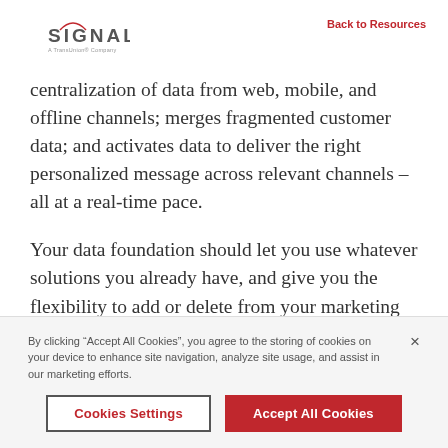[Figure (logo): Signal – A TransUnion Company logo with arc graphic above the S]
Back to Resources
centralization of data from web, mobile, and offline channels; merges fragmented customer data; and activates data to deliver the right personalized message across relevant channels – all at a real-time pace.
Your data foundation should let you use whatever solutions you already have, and give you the flexibility to add or delete from your marketing stack as better tools
By clicking "Accept All Cookies", you agree to the storing of cookies on your device to enhance site navigation, analyze site usage, and assist in our marketing efforts.
Cookies Settings
Accept All Cookies